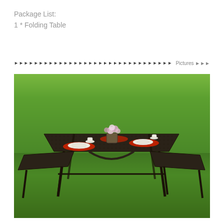Package List:
1 * Folding Table
◄►◄►◄►◄►◄►◄►◄►◄►◄►◄►◄►◄►◄►◄►◄►◄►◄►◄►◄►◄►◄►◄►◄►◄►◄►◄►◄►◄►◄► Pictures ►►►
[Figure (photo): Outdoor folding picnic table set with dark brown rattan-style surface, two matching folding benches on either side, set on green grass. The table is set with white plates, cups, red placemats, and a floral centerpiece.]